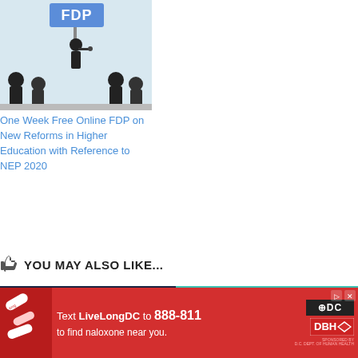[Figure (illustration): Silhouette of a speaker holding an FDP sign in front of an audience]
One Week Free Online FDP on New Reforms in Higher Education with Reference to NEP 2020
YOU MAY ALSO LIKE...
[Figure (photo): Dark background image with white text WEBINAR and hands on a laptop]
[Figure (illustration): Teal background e-learning illustration with laptop showing video conferencing]
[Figure (other): Red advertisement banner: Text LiveLongDC to 888-811 to find naloxone near you]